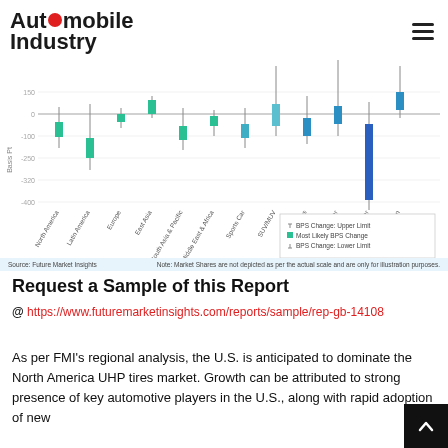Automobile Industry
[Figure (waterfall-chart): Waterfall/candlestick style BPS change chart showing upper limit, most likely BPS change, and lower limit for each region and tire category. Values range from approximately -400 to +150 basis points.]
Source: Future Market Insights    Note: Market Shares are not depicted as per the actual scale and are only for illustration purposes.
Request a Sample of this Report
@ https://www.futuremarketinsights.com/reports/sample/rep-gb-14108
As per FMI's regional analysis, the U.S. is anticipated to dominate the North America UHP tires market. Growth can be attributed to strong presence of key automotive players in the U.S., along with rapid adoption of new